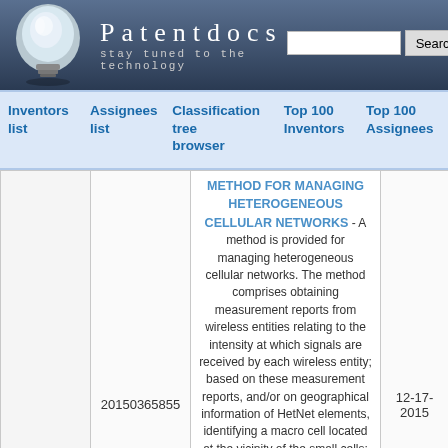Patentdocs — stay tuned to the technology
Inventors list | Assignees list | Classification tree browser | Top 100 Inventors | Top 100 Assignees
|  | 20150365855 | METHOD FOR MANAGING HETEROGENEOUS CELLULAR NETWORKS - description | 12-17-2015 |
| --- | --- | --- | --- |
|  | 20150365855 | METHOD FOR MANAGING HETEROGENEOUS CELLULAR NETWORKS - A method is provided for managing heterogeneous cellular networks. The method comprises obtaining measurement reports from wireless entities relating to the intensity at which signals are received by each wireless entity; based on these measurement reports, and/or on geographical information of HetNet elements, identifying a macro cell located at the vicinity of the small cells; selecting one of the small cells to be a gateway cell, and other small cells to be inner cells. The gateway cell is a small cell that receives, or mobile terminals connected thereto receive, signals transmitted by the macro cell at an intensity being at least similar to intensity at which these signals are | 12-17-2015 |